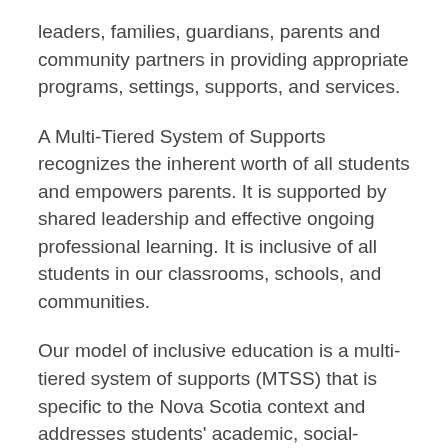leaders, families, guardians, parents and community partners in providing appropriate programs, settings, supports, and services.
A Multi-Tiered System of Supports recognizes the inherent worth of all students and empowers parents. It is supported by shared leadership and effective ongoing professional learning. It is inclusive of all students in our classrooms, schools, and communities.
Our model of inclusive education is a multi-tiered system of supports (MTSS) that is specific to the Nova Scotia context and addresses students' academic, social-emotional, and behavioural needs in an integrated way. The three tiers form a flexible, interconnected continuum of academic, behavioural, and social-emotional-health supports at three levels.